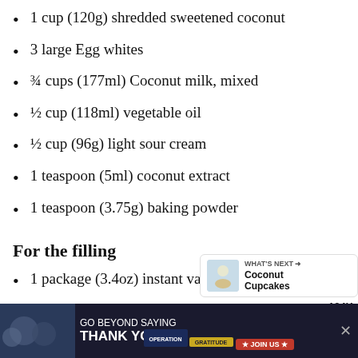1 cup (120g) shredded sweetened coconut
3 large Egg whites
¾ cups (177ml) Coconut milk, mixed
½ cup (118ml) vegetable oil
½ cup (96g) light sour cream
1 teaspoon (5ml) coconut extract
1 teaspoon (3.75g) baking powder
For the filling
1 package (3.4oz) instant vanilla pudding
¾ cup (177ml) milk, any type
1 teaspoon (5g) coconut extract